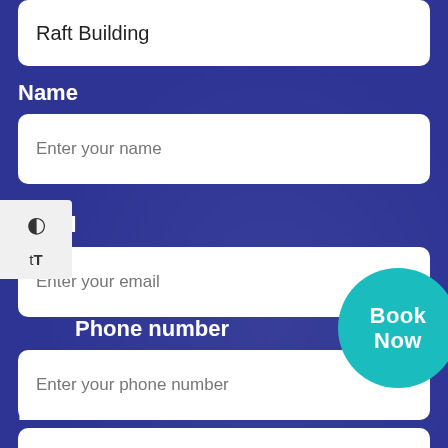Raft Building
Name
Enter your name
Email
Enter your email
Phone number
Enter your phone number
Location
Choose a location
Book Now